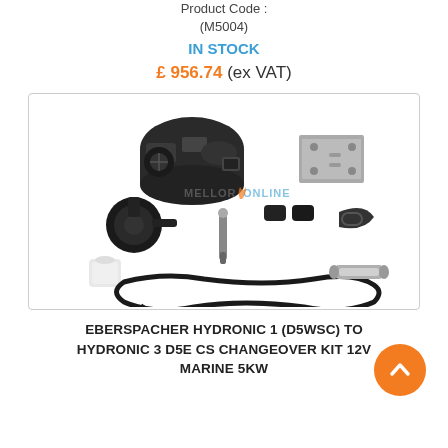Product Code :
(M5004)
IN STOCK
£ 956.74 (ex VAT)
[Figure (photo): Product photo showing Eberspacher Hydronic changeover kit components including heater unit, mounting bracket, pump, glow plug, hoses, wiring harness, and various fittings on white background with Mellor Online watermark]
EBERSPACHER HYDRONIC 1 (D5WSC) TO HYDRONIC 3 D5E CS CHANGEOVER KIT 12V MARINE 5KW